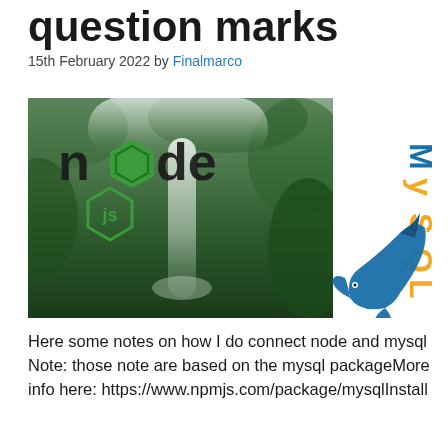question marks
15th February 2022 by Finalmarco
[Figure (illustration): Composite image showing Node.js logo overlaid on a lush green waterfall rainforest photo, alongside the MySQL dolphin logo on a white background]
Here some notes on how I do connect node and mysql Note: those note are based on the mysql packageMore info here: https://www.npmjs.com/package/mysqlInstall